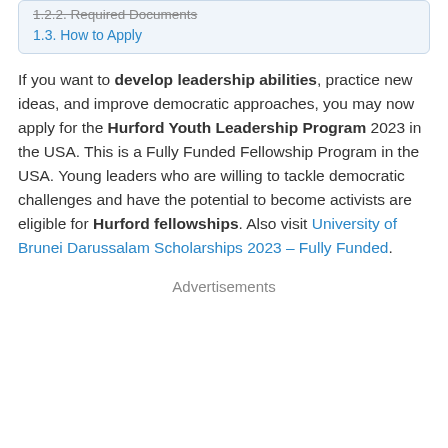1.2.2. Required Documents
1.3. How to Apply
If you want to develop leadership abilities, practice new ideas, and improve democratic approaches, you may now apply for the Hurford Youth Leadership Program 2023 in the USA. This is a Fully Funded Fellowship Program in the USA. Young leaders who are willing to tackle democratic challenges and have the potential to become activists are eligible for Hurford fellowships. Also visit University of Brunei Darussalam Scholarships 2023 – Fully Funded.
Advertisements